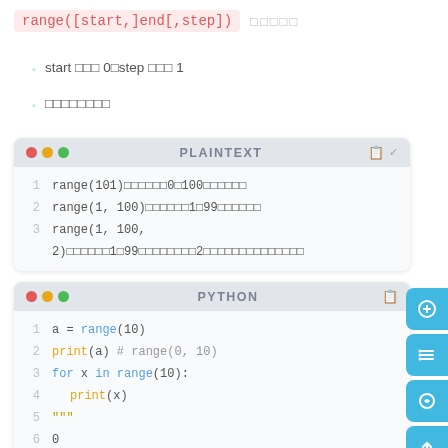range([start,]end[,step])  □□□□□
start □□□ 0□step □□□ 1
□□□□□□□□
[Figure (screenshot): PLAINTEXT code block showing: 1 range(101)□□□□□□0□100□□□□□□  2 range(1, 100)□□□□□□1□99□□□□□□  3 range(1, 100, 2)□□□□□□1□99□□□□□□□□2□□□□□□□□□□□□□□]
[Figure (screenshot): PYTHON code block showing: 1 a = range(10)  2 print(a) # range(0, 10)  3 for x in range(10):  4     print(x)  5 """  6 0]